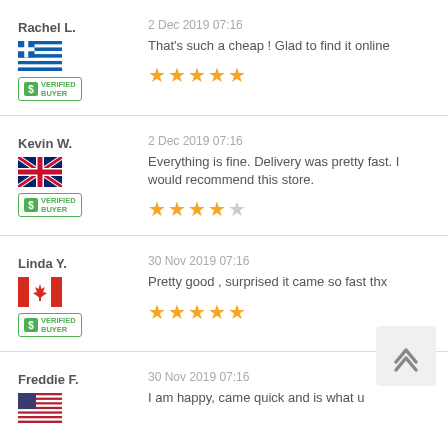Rachel L.  2 Dec 2019 07:16  That's such a cheap ! Glad to find it online  ★★★★★
Kevin W.  2 Dec 2019 07:16  Everything is fine. Delivery was pretty fast. I would recommend this store.  ★★★★☆
Linda Y.  30 Nov 2019 07:16  Pretty good , surprised it came so fast thx  ★★★★★
Freddie F.  30 Nov 2019 07:16  I am happy, came quick and is what u